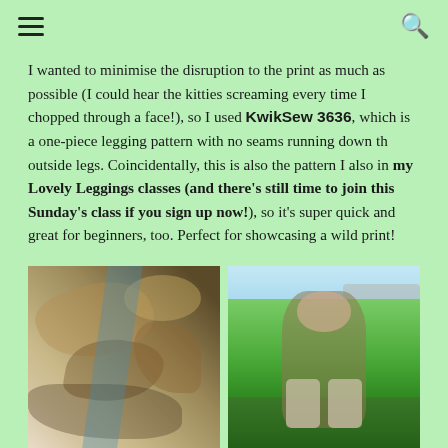☰  🔍
I wanted to minimise the disruption to the print as much as possible (I could hear the kitties screaming every time I chopped through a face!), so I used KwikSew 3636, which is a one-piece legging pattern with no seams running down th outside legs. Coincidentally, this is also the pattern I also in my Lovely Leggings classes (and there's still time to join this Sunday's class if you sign up now!), so it's super quick and great for beginners, too. Perfect for showcasing a wild print!
[Figure (photo): Close-up of cat-print fabric being held up, showing the wild animal print pattern in detail]
[Figure (photo): Woman standing on green grass outdoors wearing a khaki jacket and cat-print leggings, smiling with arms slightly out]